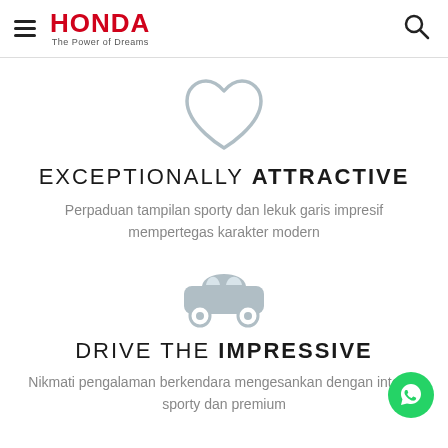HONDA — The Power of Dreams
[Figure (illustration): Heart icon outline in light blue-grey color]
EXCEPTIONALLY ATTRACTIVE
Perpaduan tampilan sporty dan lekuk garis impresif mempertegas karakter modern
[Figure (illustration): Car icon in light blue-grey color]
DRIVE THE IMPRESSIVE
Nikmati pengalaman berkendara mengesankan dengan interior sporty dan premium